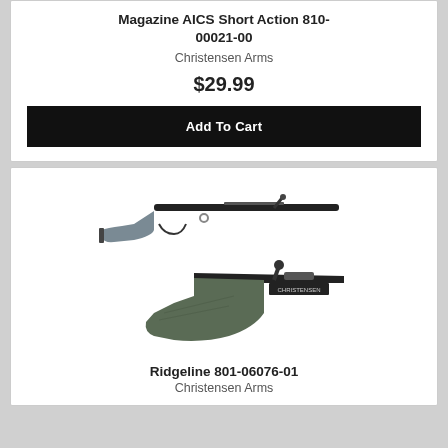Magazine AICS Short Action 810-00021-00
Christensen Arms
$29.99
Add To Cart
[Figure (photo): Two views of a bolt-action rifle with gray/dark green stock and black barrel - the Christensen Arms Ridgeline]
Ridgeline 801-06076-01
Christensen Arms